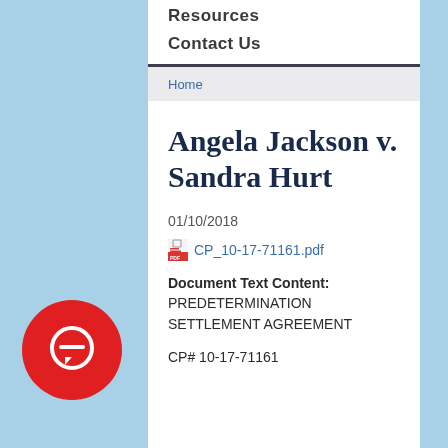Resources
Contact Us
Home
Angela Jackson v. Sandra Hurt
01/10/2018
CP_10-17-71161.pdf
Document Text Content: PREDETERMINATION SETTLEMENT AGREEMENT
CP# 10-17-71161